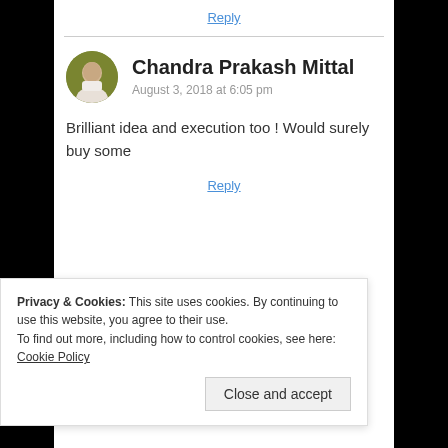Reply
Chandra Prakash Mittal
August 3, 2018 at 6:05 pm
Brilliant idea and execution too ! Would surely buy some
Reply
Privacy & Cookies: This site uses cookies. By continuing to use this website, you agree to their use.
To find out more, including how to control cookies, see here: Cookie Policy
Close and accept